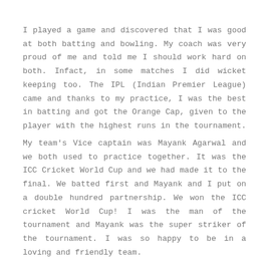I played a game and discovered that I was good at both batting and bowling. My coach was very proud of me and told me I should work hard on both. Infact, in some matches I did wicket keeping too. The IPL (Indian Premier League) came and thanks to my practice, I was the best in batting and got the Orange Cap, given to the player with the highest runs in the tournament.
My team's Vice captain was Mayank Agarwal and we both used to practice together. It was the ICC Cricket World Cup and we had made it to the final. We batted first and Mayank and I put on a double hundred partnership. We won the ICC cricket World Cup! I was the man of the tournament and Mayank was the super striker of the tournament. I was so happy to be in a loving and friendly team.